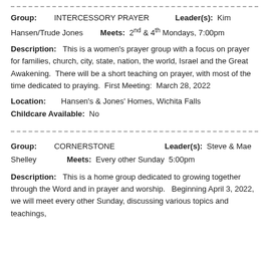--- dashed separator ---
Group: INTERCESSORY PRAYER  Leader(s): Kim Hansen/Trude Jones  Meets: 2nd & 4th Mondays, 7:00pm
Description: This is a women's prayer group with a focus on prayer for families, church, city, state, nation, the world, Israel and the Great Awakening. There will be a short teaching on prayer, with most of the time dedicated to praying. First Meeting: March 28, 2022
Location: Hansen's & Jones' Homes, Wichita Falls
Childcare Available: No
--- dashed separator ---
Group: CORNERSTONE  Leader(s): Steve & Mae Shelley  Meets: Every other Sunday 5:00pm
Description: This is a home group dedicated to growing together through the Word and in prayer and worship. Beginning April 3, 2022, we will meet every other Sunday, discussing various topics and teachings,